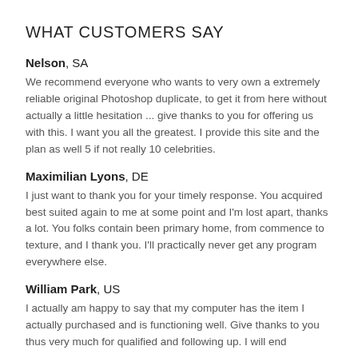WHAT CUSTOMERS SAY
Nelson, SA
We recommend everyone who wants to very own a extremely reliable original Photoshop duplicate, to get it from here without actually a little hesitation ... give thanks to you for offering us with this. I want you all the greatest. I provide this site and the plan as well 5 if not really 10 celebrities.
Maximilian Lyons, DE
I just want to thank you for your timely response. You acquired best suited again to me at some point and I'm lost apart, thanks a lot. You folks contain been primary home, from commence to texture, and I thank you. I'll practically never get any program everywhere else.
William Park, US
I actually am happy to say that my computer has the item I actually purchased and is functioning well. Give thanks to you thus very much for qualified and following up. I will end